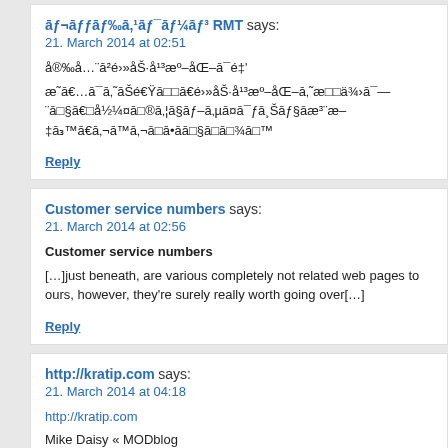āƒ¬āƒƒāƒ‰ā‚¹āƒ¯āƒ¼āƒ³ RMT says: 21. March 2014 at 02:51
å®‰å…¨ā²é›»åŠ›å¹³æº–åŒ–ā¯é‡'
æ˜ā€…ā¯ā‚˜āŠé€Ÿā□□ā€é›»åŠ›å¹³æº–åŒ–ā‚˜æ□□ä¾›ā¯—¨ā□§ā€□å½¼¤ā□®ā‚¦ā§āƒ–ā‚µā¤ā¯ƒā¸Šāƒ§āæ³¨æ–‡ā₃‚Žā‚¬ā™ā‚¬ā□ā•āā□§ā□ā□¾ā□™
Reply
Customer service numbers says: 21. March 2014 at 02:56
Customer service numbers
[...]just beneath, are various completely not related web pages to ours, however, they're surely really worth going over[...]
Reply
http://kratip.com says: 21. March 2014 at 04:18
http://kratip.com
Mike Daisy « MODblog
Reply